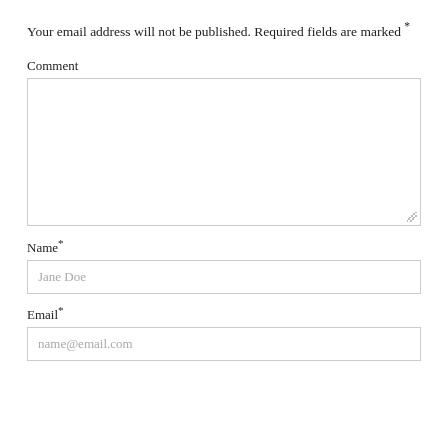Your email address will not be published. Required fields are marked *
Comment
[Figure (other): Comment textarea input field (empty, with resize handle)]
Name*
[Figure (other): Name text input field with placeholder 'Jane Doe']
Email*
[Figure (other): Email text input field with placeholder 'name@email.com']